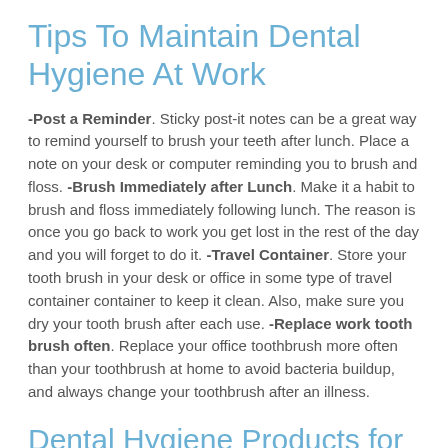Tips To Maintain Dental Hygiene At Work
-Post a Reminder. Sticky post-it notes can be a great way to remind yourself to brush your teeth after lunch. Place a note on your desk or computer reminding you to brush and floss. -Brush Immediately after Lunch. Make it a habit to brush and floss immediately following lunch. The reason is once you go back to work you get lost in the rest of the day and you will forget to do it. -Travel Container. Store your tooth brush in your desk or office in some type of travel container container to keep it clean. Also, make sure you dry your tooth brush after each use. -Replace work tooth brush often. Replace your office toothbrush more often than your toothbrush at home to avoid bacteria buildup, and always change your toothbrush after an illness.
Dental Hygiene Products for the Office